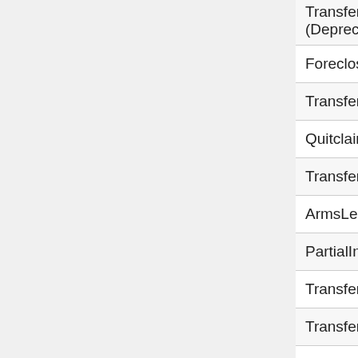| Field Name |
| --- |
| TransferInfoPurchaseTypeCode (Deprecated) |
| ForeclosureAuctionSale |
| TransferInfoDistressCircumstanceCode |
| QuitclaimFlag |
| TransferInfoMultiParcelFlag |
| ArmsLengthFlag |
| PartialInterest |
| TransferAmount |
| TransferAmountInfoAccuracy |
| TransferTaxTotal |
| TransferTaxCounty |
| Name1Full |
| Name1First |
| Name1Middle |
| Name1Last |